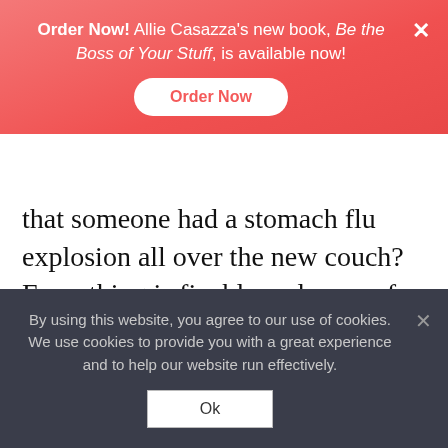Order Now! Allie Casazza's new book, Be the Boss of Your Stuff, is available now! Order Now
that someone had a stomach flu explosion all over the new couch? Everything is fixable and none of that stuff really matters in the end. So, I try to take a deep breath and let it go and keep my perspective.
My last tip under this category of feeling good about what you do is schedule yourself some
By using this website, you agree to our use of cookies. We use cookies to provide you with a great experience and to help our website run effectively. Ok